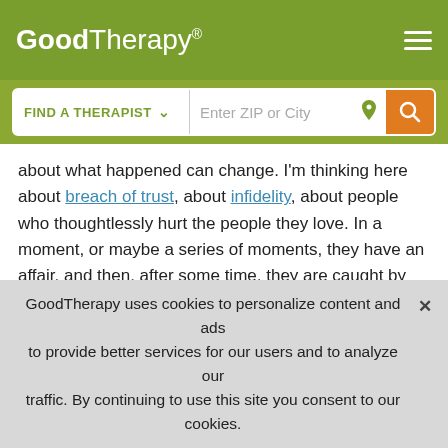GoodTherapy®
FIND A THERAPIST   Enter ZIP or City
about what happened can change. I'm thinking here about breach of trust, about infidelity, about people who thoughtlessly hurt the people they love. In a moment, or maybe a series of moments, they have an affair, and then, after some time, they are caught by their partner. "I'm sorry," they might say. "It didn't mean anything. I didn't mean it." And perhaps they are genuinely regretful, filled with remorse, about the loss of trust they've caused, about the wound to their relationship.
GoodTherapy uses cookies to personalize content and ads to provide better services for our users and to analyze our traffic. By continuing to use this site you consent to our cookies.